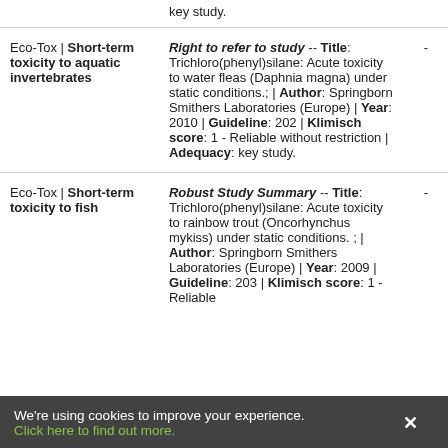| Category | Study | Rating |
| --- | --- | --- |
| Eco-Tox | Short-term toxicity to aquatic invertebrates | Right to refer to study -- Title: Trichloro(phenyl)silane: Acute toxicity to water fleas (Daphnia magna) under static conditions.; | Author: Springborn Smithers Laboratories (Europe) | Year: 2010 | Guideline: 202 | Klimisch score: 1 - Reliable without restriction | Adequacy: key study. | - |
| Eco-Tox | Short-term toxicity to fish | Robust Study Summary -- Title: Trichloro(phenyl)silane: Acute toxicity to rainbow trout (Oncorhynchus mykiss) under static conditions. ; | Author: Springborn Smithers Laboratories (Europe) | Year: 2009 | Guideline: 203 | Klimisch score: 1 - Reliable | - |
We're using cookies to improve your experience. Click here to find out more.